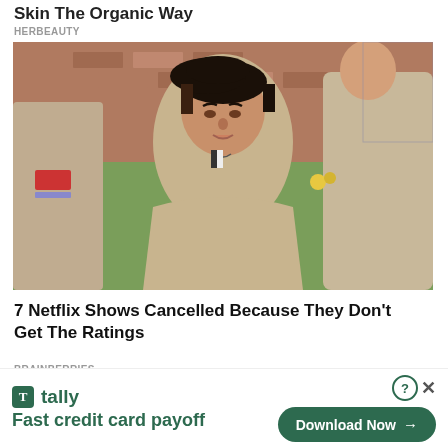Skin The Organic Way
HERBEAUTY
[Figure (photo): A person with a dark slicked-back undercut hairstyle wearing a tan/beige prison uniform, sitting outdoors on grass with brick building in background. Two other people in prison uniforms visible at sides.]
7 Netflix Shows Cancelled Because They Don't Get The Ratings
BRAINBERRIES
[Figure (photo): Partial view of a second article image, mostly cut off — warm brownish tones visible.]
[Figure (infographic): Tally app advertisement banner: green Tally logo with tagline 'Fast credit card payoff' and a 'Download Now' button with arrow. Close (X) and question mark icons in top right.]